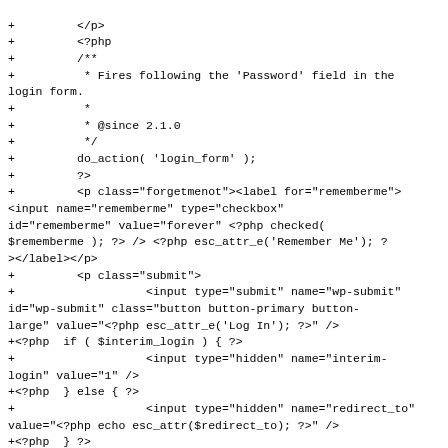+         </p>
+         <?php
+         /**
+          * Fires following the 'Password' field in the login form.
+          *
+          * @since 2.1.0
+          */
+         do_action( 'login_form' );
+         ?>
+         <p class="forgetmenot"><label for="rememberme"><input name="rememberme" type="checkbox" id="rememberme" value="forever" <?php checked( $rememberme ); ?> /> <?php esc_attr_e('Remember Me'); ?></label></p>
+         <p class="submit">
+                   <input type="submit" name="wp-submit" id="wp-submit" class="button button-primary button-large" value="<?php esc_attr_e('Log In'); ?>" />
+<?php  if ( $interim_login ) { ?>
+                   <input type="hidden" name="interim-login" value="1" />
+<?php  } else { ?>
+                   <input type="hidden" name="redirect_to" value="<?php echo esc_attr($redirect_to); ?>" />
+<?php  } ?>
+<?php  if ( $customize_login ) : ?>
+                   <input type="hidden" name="customize-login" value="1" />
+<?php  endif; ?>